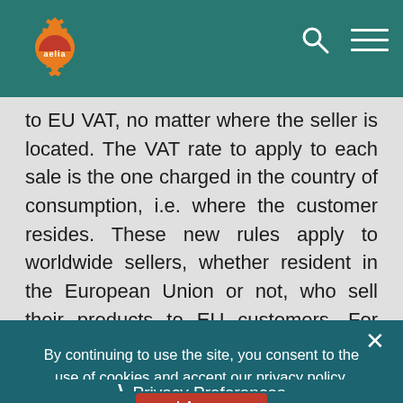[Figure (logo): Aelia logo: orange gear/cog with red sun rising and 'aelia' text in white, on teal header background]
to EU VAT, no matter where the seller is located. The VAT rate to apply to each sale is the one charged in the country of consumption, i.e. where the customer resides. These new rules apply to worldwide sellers, whether resident in the European Union or not, who sell their products to EU customers. For more information: EU: 2015 Place of Supply
By continuing to use the site, you consent to the use of cookies and accept our privacy policy.
Privacy Preferences
I Agree